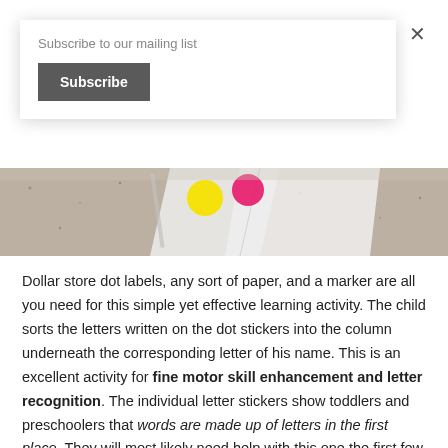Subscribe to our mailing list
Subscribe
[Figure (photo): Close-up photo of colorful dot stickers (yellow, pink) on paper on a granite countertop surface, partially visible at the top of the article page]
Dollar store dot labels, any sort of paper, and a marker are all you need for this simple yet effective learning activity. The child sorts the letters written on the dot stickers into the column underneath the corresponding letter of his name. This is an excellent activity for fine motor skill enhancement and letter recognition. The individual letter stickers show toddlers and preschoolers that words are made up of letters in the first place. They will most likely need help with this one the first few times you try it, but will eventually be able to do it on their own! Once they've mastered their name, let